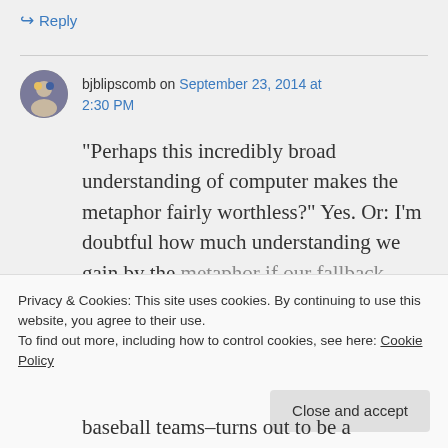↪ Reply
bjblipscomb on September 23, 2014 at 2:30 PM
“Perhaps this incredibly broad understanding of computer makes the metaphor fairly worthless?” Yes. Or: I’m doubtful how much understanding we gain by the metaphor if our fallback definition of
Privacy & Cookies: This site uses cookies. By continuing to use this website, you agree to their use.
To find out more, including how to control cookies, see here: Cookie Policy
Close and accept
baseball teams–turns out to be a